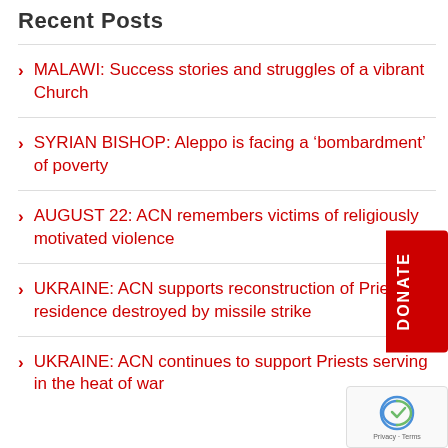Recent Posts
MALAWI: Success stories and struggles of a vibrant Church
SYRIAN BISHOP: Aleppo is facing a ‘bombardment’ of poverty
AUGUST 22: ACN remembers victims of religiously motivated violence
UKRAINE: ACN supports reconstruction of Priest’s residence destroyed by missile strike
UKRAINE: ACN continues to support Priests serving in the heat of war